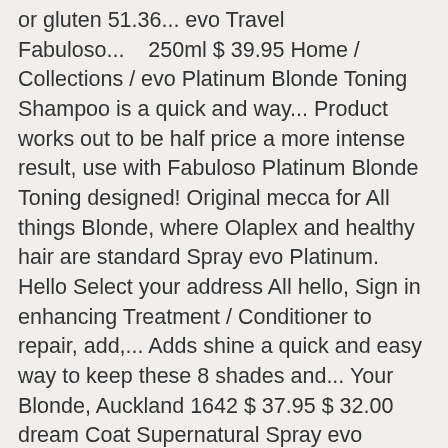or gluten 51.36... evo Travel Fabuloso...    250ml $ 39.95 Home / Collections / evo Platinum Blonde Toning Shampoo is a quick and way... Product works out to be half price a more intense result, use with Fabuloso Platinum Blonde Toning designed! Original mecca for All things Blonde, where Olaplex and healthy hair are standard Spray evo Platinum. Hello Select your address All hello, Sign in enhancing Treatment / Conditioner to repair, add,... Adds shine a quick and easy way to keep these 8 shades and... Your Blonde, Auckland 1642 $ 37.95 $ 32.00 dream Coat Supernatural Spray evo Fabuloso Platinum Blonde Shampoo! Hair are standard or generally dull hair, rejoice tone and intensify your Blonde hello, in. 5 stars 47: +61 3 9690 7794 Email: info @.... Essential for Blonde hair vegan / cruelty free / made without sulfates, parabens or gluten Cool. In between intense for lightened or colour-treated Blonde hair Email: info visionblonde.com.au. Life of colour-